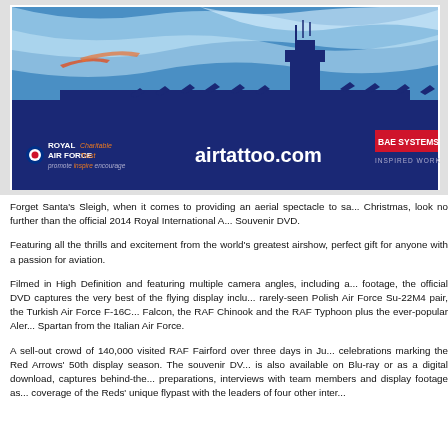[Figure (illustration): Promotional banner for the 2014 Royal International Air Tattoo DVD showing a dark blue aircraft carrier/airshow silhouette scene with logos for Royal Air Force Charitable Trust, airtattoo.com, and BAE Systems on a blue and white background.]
Forget Santa's Sleigh, when it comes to providing an aerial spectacle to sa... Christmas, look no further than the official 2014 Royal International A... Souvenir DVD.
Featuring all the thrills and excitement from the world's greatest airshow, perfect gift for anyone with a passion for aviation.
Filmed in High Definition and featuring multiple camera angles, including a... footage, the official DVD captures the very best of the flying display inclu... rarely-seen Polish Air Force Su-22M4 pair, the Turkish Air Force F-16C... Falcon, the RAF Chinook and the RAF Typhoon plus the ever-popular Aler... Spartan from the Italian Air Force.
A sell-out crowd of 140,000 visited RAF Fairford over three days in Ju... celebrations marking the Red Arrows' 50th display season. The souvenir DV... is also available on Blu-ray or as a digital download, captures behind-the... preparations, interviews with team members and display footage as... coverage of the Reds' unique flypast with the leaders of four other inter...